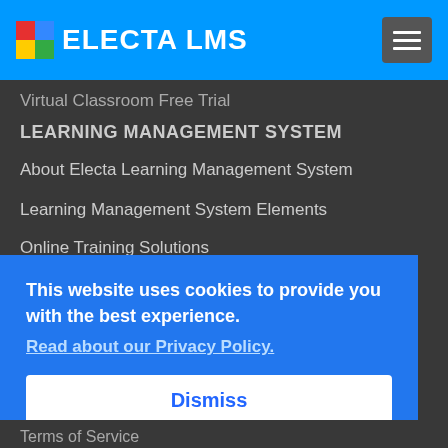[Figure (logo): Electa LMS logo with colorful square icon and white bold text 'ELECTA LMS' on blue header bar]
Virtual Classroom Free Trial
LEARNING MANAGEMENT SYSTEM
About Electa Learning Management System
Learning Management System Elements
Online Training Solutions
This website uses cookies to provide you with the best experience.
Read about our Privacy Policy.
Dismiss
Terms of Service